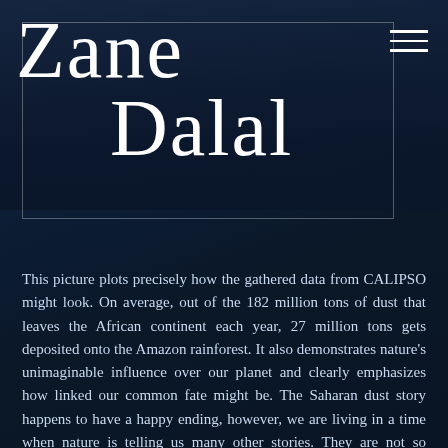Zane Dalal
This picture plots precisely how the gathered data from CALIPSO might look. On average, out of the 182 million tons of dust that leaves the African continent each year, 27 million tons gets deposited onto the Amazon rainforest. It also demonstrates nature's unimaginable influence over our planet and clearly emphasizes how linked our common fate might be. The Saharan dust story happens to have a happy ending, however, we are living in a time when nature is telling us many other stories. They are not so pleasant and they too, have conclusive evidence. In the face of hard-hitting facts, advanced documentation and proportionately 'common' knowledge why do we accept some scientific evidence as credible but completely ignore some